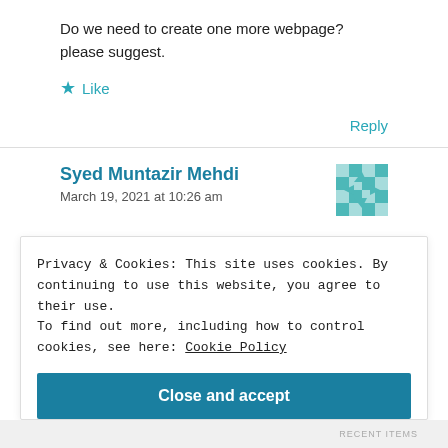Do we need to create one more webpage? please suggest.
★ Like
Reply
Syed Muntazir Mehdi
March 19, 2021 at 10:26 am
Privacy & Cookies: This site uses cookies. By continuing to use this website, you agree to their use.
To find out more, including how to control cookies, see here: Cookie Policy
Close and accept